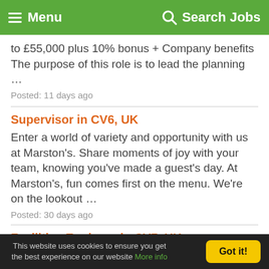Menu | Search Jobs
to £55,000 plus 10% bonus + Company benefits The purpose of this role is to lead the planning ...
Posted: 11 days ago
Supervisor in CV6, UK
Enter a world of variety and opportunity with us at Marston's. Share moments of joy with your team, knowing you've made a guest's day. At Marston's, fun comes first on the menu. We're on the lookout ...
Posted: 30 days ago
Facilities Engineer in CV7, UK
The company A well-established Automotive Manufacturing business, based in the heart of the
This website uses cookies to ensure you get the best experience on our website More info
Got it!